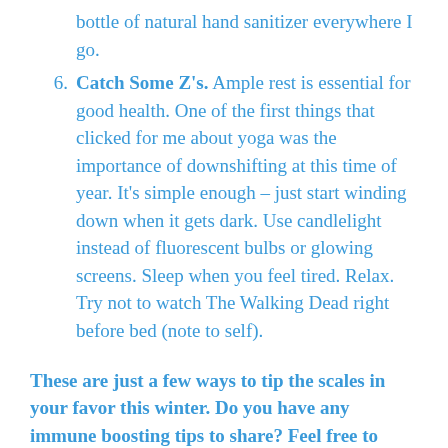bottle of natural hand sanitizer everywhere I go.
6. Catch Some Z's. Ample rest is essential for good health. One of the first things that clicked for me about yoga was the importance of downshifting at this time of year. It's simple enough – just start winding down when it gets dark. Use candlelight instead of fluorescent bulbs or glowing screens. Sleep when you feel tired. Relax. Try not to watch The Walking Dead right before bed (note to self).
These are just a few ways to tip the scales in your favor this winter. Do you have any immune boosting tips to share? Feel free to